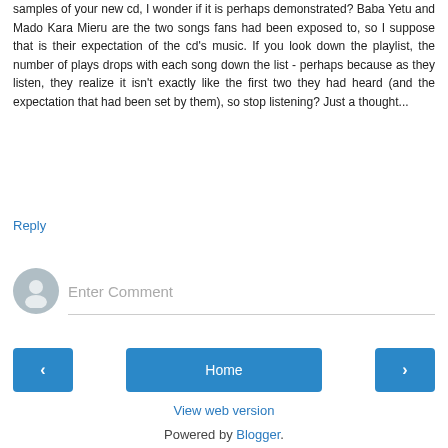samples of your new cd, I wonder if it is perhaps demonstrated? Baba Yetu and Mado Kara Mieru are the two songs fans had been exposed to, so I suppose that is their expectation of the cd's music. If you look down the playlist, the number of plays drops with each song down the list - perhaps because as they listen, they realize it isn't exactly like the first two they had heard (and the expectation that had been set by them), so stop listening? Just a thought...
Reply
[Figure (illustration): User avatar circle icon placeholder, gray]
Enter Comment
< Home >
View web version
Powered by Blogger.